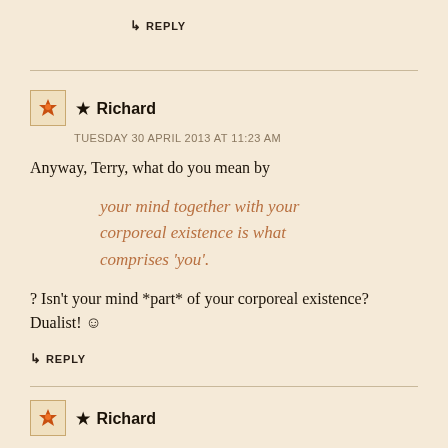↳ REPLY
★ Richard
TUESDAY 30 APRIL 2013 AT 11:23 AM
Anyway, Terry, what do you mean by
your mind together with your corporeal existence is what comprises 'you'.
? Isn't your mind *part* of your corporeal existence? Dualist! ☺
↳ REPLY
★ Richard